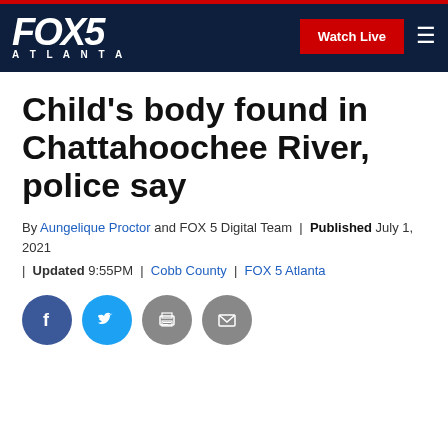FOX 5 ATLANTA | Watch Live
Child's body found in Chattahoochee River, police say
By Aungelique Proctor and FOX 5 Digital Team | Published July 1, 2021 | Updated 9:55PM | Cobb County | FOX 5 Atlanta
[Figure (other): Social sharing icons: Facebook, Twitter, Print, Email]